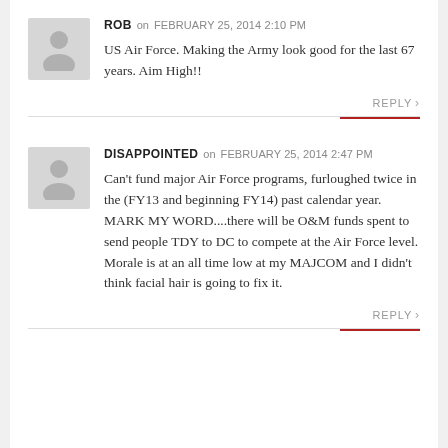ROB on FEBRUARY 25, 2014 2:10 PM
US Air Force. Making the Army look good for the last 67 years. Aim High!!
REPLY
DISAPPOINTED on FEBRUARY 25, 2014 2:47 PM
Can't fund major Air Force programs, furloughed twice in the (FY13 and beginning FY14) past calendar year. MARK MY WORD....there will be O&M funds spent to send people TDY to DC to compete at the Air Force level. Morale is at an all time low at my MAJCOM and I didn't think facial hair is going to fix it.
REPLY